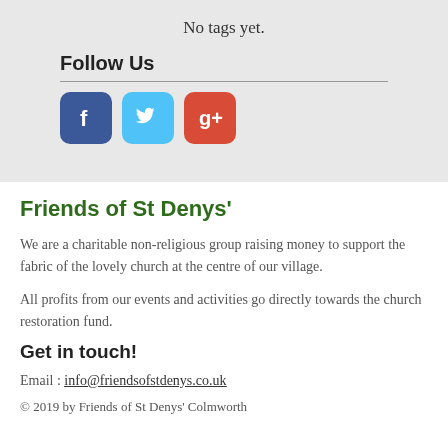No tags yet.
Follow Us
[Figure (illustration): Three social media icons: Facebook (blue), Twitter (light blue), Google+ (red-orange)]
Friends of St Denys'
We are a charitable non-religious group raising money to support the fabric of the lovely church at the centre of our village.
All profits from our events and activities go directly towards the church restoration fund.
Get in touch!
Email : info@friendsofstdenys.co.uk
© 2019 by Friends of St Denys' Colmworth